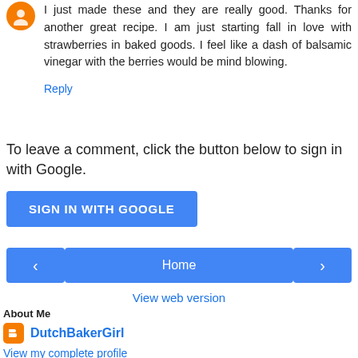I just made these and they are really good. Thanks for another great recipe. I am just starting fall in love with strawberries in baked goods. I feel like a dash of balsamic vinegar with the berries would be mind blowing.
Reply
To leave a comment, click the button below to sign in with Google.
SIGN IN WITH GOOGLE
[Figure (screenshot): Navigation bar with left arrow button, Home button, and right arrow button]
View web version
About Me
DutchBakerGirl
View my complete profile
Pages